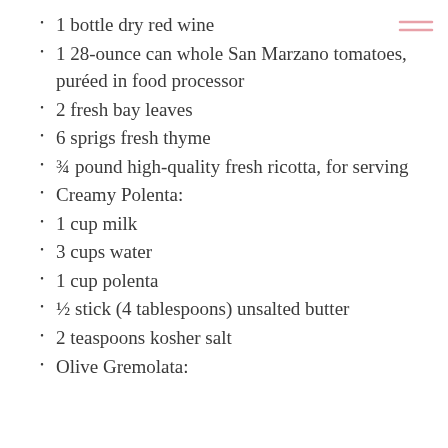1 bottle dry red wine
1 28-ounce can whole San Marzano tomatoes, puréed in food processor
2 fresh bay leaves
6 sprigs fresh thyme
¾ pound high-quality fresh ricotta, for serving
Creamy Polenta:
1 cup milk
3 cups water
1 cup polenta
½ stick (4 tablespoons) unsalted butter
2 teaspoons kosher salt
Olive Gremolata: